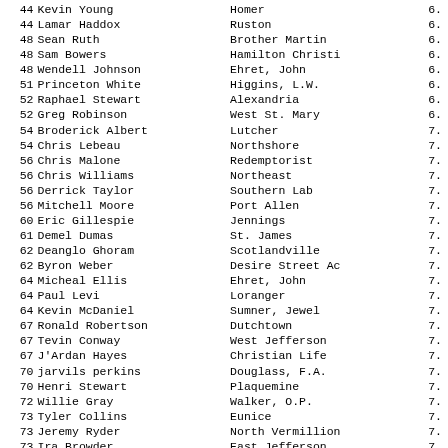| Rank | Name | School | Score |
| --- | --- | --- | --- |
| 44 | Kevin Young | Homer | 6. |
| 44 | Lamar Haddox | Ruston | 6. |
| 48 | Sean Ruth | Brother Martin | 6. |
| 48 | Sam Bowers | Hamilton Christi | 6. |
| 48 | Wendell Johnson | Ehret, John | 6. |
| 51 | Princeton White | Higgins, L.W. | 6. |
| 52 | Raphael Stewart | Alexandria | 6. |
| 52 | Greg Robinson | West St. Mary | 6. |
| 54 | Broderick Albert | Lutcher | 7. |
| 54 | Chris Lebeau | Northshore | 7. |
| 56 | Chris Malone | Redemptorist | 7. |
| 56 | Chris Williams | Northeast | 7. |
| 56 | Derrick Taylor | Southern Lab | 7. |
| 56 | Mitchell Moore | Port Allen | 7. |
| 60 | Eric Gillespie | Jennings | 7. |
| 61 | Demel Dumas | St. James | 7. |
| 62 | Deanglo Ghoram | Scotlandville | 7. |
| 62 | Byron Weber | Desire Street Ac | 7. |
| 64 | Micheal Ellis | Ehret, John | 7. |
| 64 | Paul Levi | Loranger | 7. |
| 64 | Kevin McDaniel | Sumner, Jewel | 7. |
| 67 | Ronald Robertson | Dutchtown | 7. |
| 67 | Tevin Conway | West Jefferson | 7. |
| 67 | J'Ardan Hayes | Christian Life | 7. |
| 70 | jarvils perkins | Douglass, F.A. | 7. |
| 70 | Henri Stewart | Plaquemine | 7. |
| 72 | Willie Gray | Walker, O.P. | 7. |
| 73 | Tyler Collins | Eunice | 7. |
| 73 | Jeremy Ryder | North Vermillion | 7. |
| 73 | Ira Browder | East Jefferson | 7. |
| 76 | Brandon Brown | Alexandria | 7. |
| 77 | Teddy Webb | West Feliciana | 7. |
| 78 | Kevin Bartie | Lake Charles-Bos | 7. |
| 79 | Trey Ritchie | St. Amant | 7. |
| 79 | Russell Pellachino | St. Thomas Aquin | 7. |